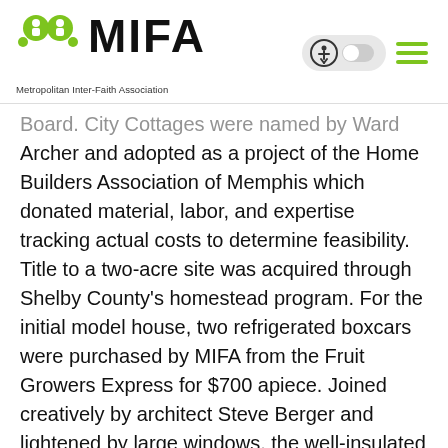MIFA — Metropolitan Inter-Faith Association
Board. City Cottages were named by Ward Archer and adopted as a project of the Home Builders Association of Memphis which donated material, labor, and expertise tracking actual costs to determine feasibility. Title to a two-acre site was acquired through Shelby County's homestead program. For the initial model house, two refrigerated boxcars were purchased by MIFA from the Fruit Growers Express for $700 apiece. Joined creatively by architect Steve Berger and lightened by large windows, the well-insulated cars formed a two-bedroom house of about 1,000 square feet. The house was sold for